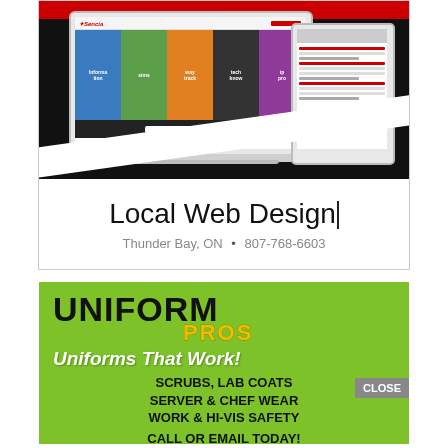[Figure (screenshot): Screenshot of a website on a laptop and tablet device with colorful tiled sections, on a black background with red accent bar]
Local Web Design
Thunder Bay, ON • 807-768-6603
[Figure (photo): Uniform Pros advertisement on green background with large bold text]
UNIFORM PROS
Uniforms That Work!
SCRUBS, LAB COATS
SERVER & CHEF WEAR
WORK & HI-VIS SAFETY
CALL OR EMAIL TODAY!
807-622-8640 • sales@uniformpros.ca